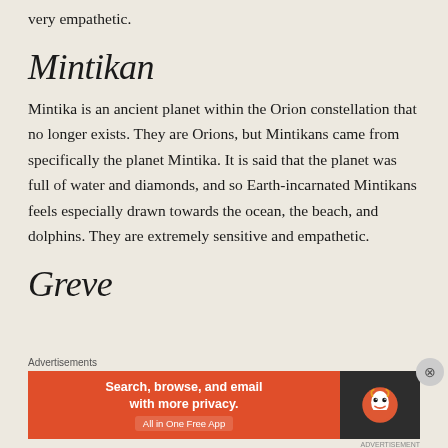very empathetic.
Mintikan
Mintika is an ancient planet within the Orion constellation that no longer exists. They are Orions, but Mintikans came from specifically the planet Mintika. It is said that the planet was full of water and diamonds, and so Earth-incarnated Mintikans feels especially drawn towards the ocean, the beach, and dolphins. They are extremely sensitive and empathetic.
Greve
Advertisements
[Figure (other): DuckDuckGo advertisement banner: orange section with text 'Search, browse, and email with more privacy. All in One Free App' and dark section with DuckDuckGo logo]